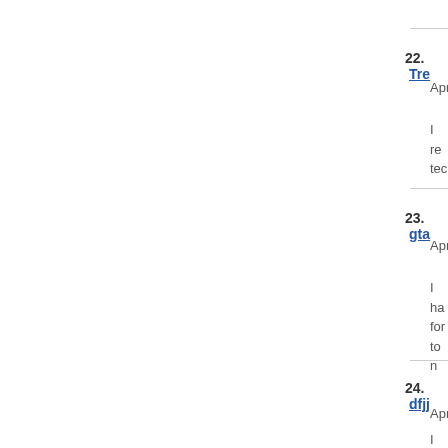22. Tre
Apr
I re
tec
23. gta
Apr
I ha
for
to n
24. dfjj
Apr
I pa